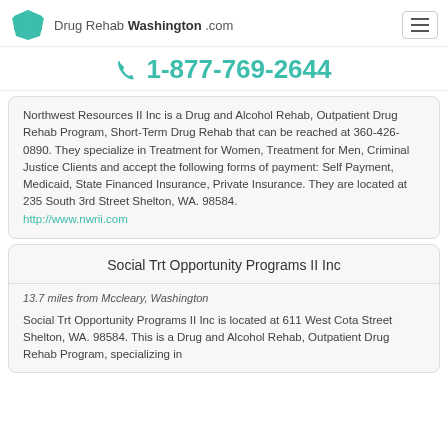Drug Rehab Washington .com
1-877-769-2644
Northwest Resources II Inc is a Drug and Alcohol Rehab, Outpatient Drug Rehab Program, Short-Term Drug Rehab that can be reached at 360-426-0890. They specialize in Treatment for Women, Treatment for Men, Criminal Justice Clients and accept the following forms of payment: Self Payment, Medicaid, State Financed Insurance, Private Insurance. They are located at 235 South 3rd Street Shelton, WA. 98584. http://www.nwrii.com
Social Trt Opportunity Programs II Inc
13.7 miles from Mccleary, Washington
Social Trt Opportunity Programs II Inc is located at 611 West Cota Street Shelton, WA. 98584. This is a Drug and Alcohol Rehab, Outpatient Drug Rehab Program specializing in